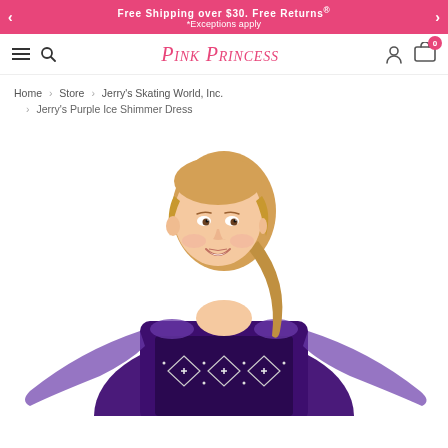Free Shipping over $30. Free Returns* *Exceptions apply
[Figure (logo): Pink Princess website logo in pink italic script]
Home › Store › Jerry's Skating World, Inc. › Jerry's Purple Ice Shimmer Dress
[Figure (photo): Young girl wearing a purple ice skating dress with sheer long sleeves and sparkle diamond pattern across the bodice, smiling at camera against white background]